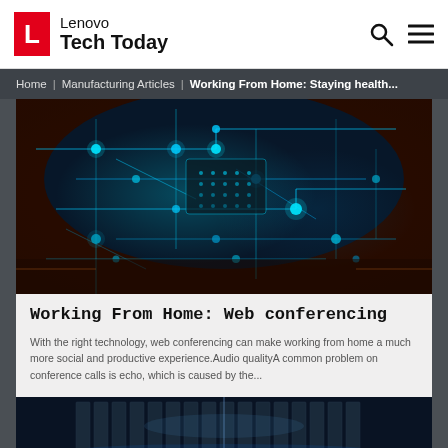Lenovo Tech Today
Home | Manufacturing Articles | Working From Home: Staying health...
[Figure (photo): Close-up macro photo of a glowing cyan circuit board with blue LED light nodes and circuit traces on a dark brown PCB background]
Working From Home: Web conferencing
With the right technology, web conferencing can make working from home a much more social and productive experience.Audio qualityA common problem on conference calls is echo, which is caused by the...
[Figure (photo): Dark server room with rows of servers and blue lighting visible at the bottom of the page]